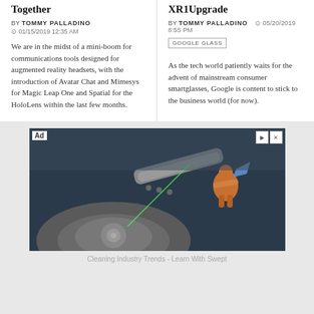Together
BY TOMMY PALLADINO
01/15/2019 12:35 AM
We are in the midst of a mini-boom for communications tools designed for augmented reality headsets, with the introduction of Avatar Chat and Mimesys for Magic Leap One and Spatial for the HoloLens within the last few months.
XR1Upgrade
BY TOMMY PALLADINO  05/20/2019 8:55 PM
GOOGLE GLASS
As the tech world patiently waits for the advent of mainstream consumer smartglasses, Google is content to stick to the business world (for now).
[Figure (photo): Advertisement image showing a close-up of mechanical parts (hard drive internals) with a small figurine on top, with 'Ad' label and close/play controls in the corner.]
Cleaning Industry Trends - Learn With Swept